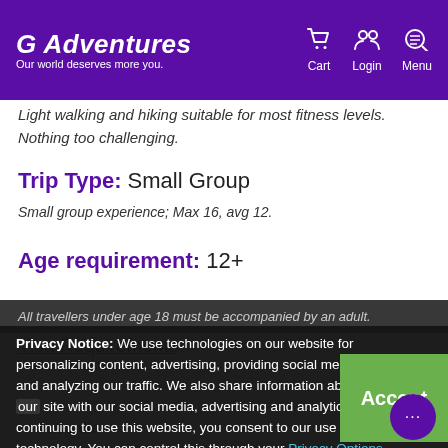G Adventures — Our world deserves more you. | Cart | Login | Menu
Light walking and hiking suitable for most fitness levels. Nothing too challenging.
Trip Type: Small Group
Small group experience; Max 16, avg 12.
Age requirement: 12+
All travellers under age 18 must be accompanied by an adult.
Privacy Notice: We use technologies on our website for personalizing content, advertising, providing social media features, and analyzing our traffic. We also share information about your use of our site with our social media, advertising and analytics partners. By continuing to use this website, you consent to our use of this technology. You can control this through your Privacy Options.
Accept
Visa Requirements
With a passport from
⚠ Australia